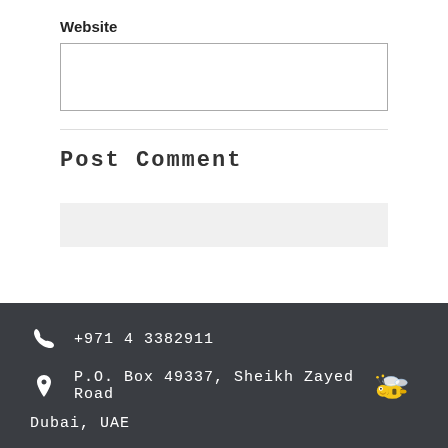Website
[Figure (other): Empty website input text box]
Post Comment
[Figure (other): Search/input bar with light gray background]
+971 4 3382911
P.O. Box 49337, Sheikh Zayed Road
Dubai, UAE